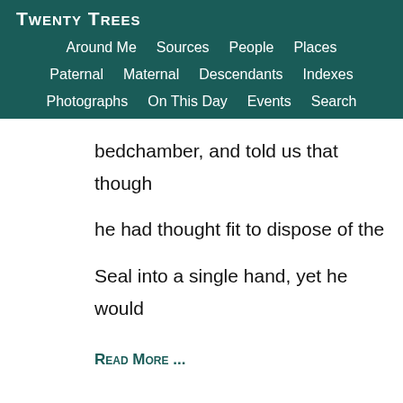Twenty Trees
Around Me | Sources | People | Places | Paternal | Maternal | Descendants | Indexes | Photographs | On This Day | Events | Search
bedchamber, and told us that though he had thought fit to dispose of the Seal into a single hand, yet he would
Read More ...